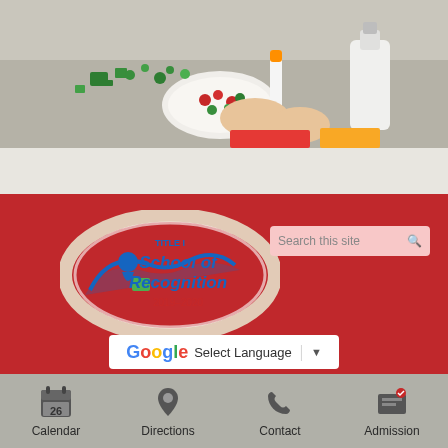[Figure (photo): Children doing a craft activity at a table with green tiles/pieces, a glue stick, and white glue bottle. Partial view of hands and a plate with decorative items.]
[Figure (logo): Title I School of Recognition 2019-2020 logo — white oval with blue and red lettering and a figure graphic]
Search this site
G Select Language ▼
SEEDS OF HEALTH ELEMENTARY
1445 S 32nd St,
Milwaukee, WI 53215
Phone: (414) 672-0726
Calendar
Directions
Contact
Admission